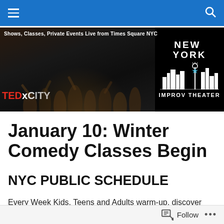Navigation bar with hamburger menu and search icon
[Figure (photo): Banner image showing a stage performance with performers, TEDxCity branding on left, and New York Improv Theater logo on right. Text reads: Shows, Classes, Private Events Live from Times Square NYC]
January 10: Winter Comedy Classes Begin
NYC PUBLIC SCHEDULE
Every Week Kids, Teens and Adults warm-up, discover
Follow